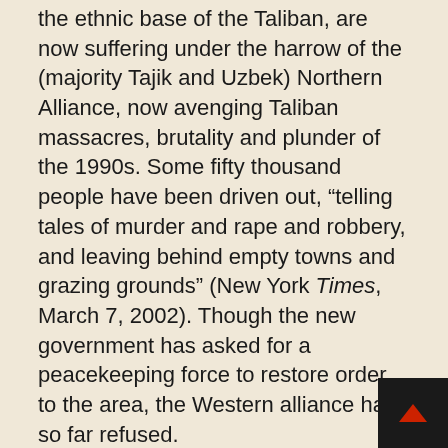the ethnic base of the Taliban, are now suffering under the harrow of the (majority Tajik and Uzbek) Northern Alliance, now avenging Taliban massacres, brutality and plunder of the 1990s. Some fifty thousand people have been driven out, “telling tales of murder and rape and robbery, and leaving behind empty towns and grazing grounds” (New York Times, March 7, 2002). Though the new government has asked for a peacekeeping force to restore order to the area, the Western alliance has so far refused.
There may no longer be any resolution in the next decade or decades to the Afghan calamity, no path to a viable, stable society. Two decades of vicious war and warlordism cannot be annulled by waving a wand, be it a carrot or a stick. The country may be joining places like parts of West Africa or Somalia, where both central authority and functional society have imploded and which have been written off by the international system, at least for the time being, as socio-econo...